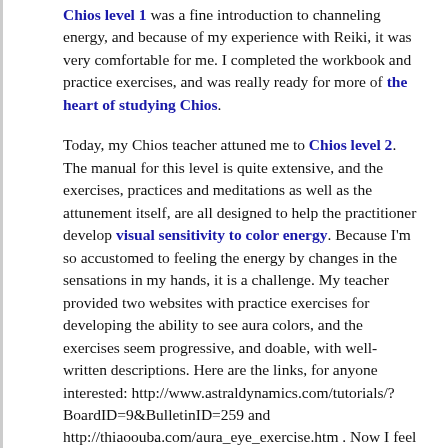Chios level 1 was a fine introduction to channeling energy, and because of my experience with Reiki, it was very comfortable for me. I completed the workbook and practice exercises, and was really ready for more of the heart of studying Chios. Today, my Chios teacher attuned me to Chios level 2. The manual for this level is quite extensive, and the exercises, practices and meditations as well as the attunement itself, are all designed to help the practitioner develop visual sensitivity to color energy. Because I'm so accustomed to feeling the energy by changes in the sensations in my hands, it is a challenge. My teacher provided two websites with practice exercises for developing the ability to see aura colors, and the exercises seem progressive, and doable, with well-written descriptions. Here are the links, for anyone interested: http://www.astraldynamics.com/tutorials/?BoardID=9&BulletinID=259 and http://thiaoouba.com/aura_eye_exercise.htm . Now I feel that I have lots to do and learn! I've embarked